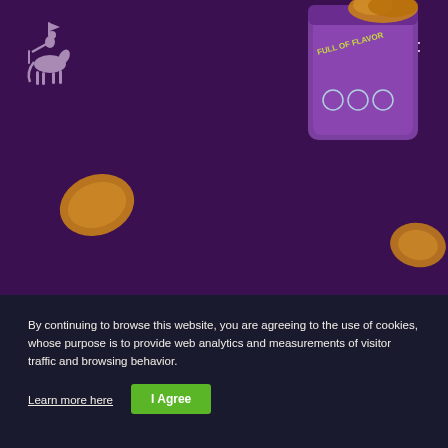[Figure (screenshot): Website screenshot with dark purple background showing a snack brand website. A polo player logo is in the top left, hamburger menu icon top right, a purple snack box with 'FULL OF FLAVOR' text in the upper right area, snack chips floating on left and right sides.]
By continuing to browse this website, you are agreeing to the use of cookies, whose purpose is to provide web analytics and measurements of visitor traffic and browsing behavior.
Learn more here
I Agree